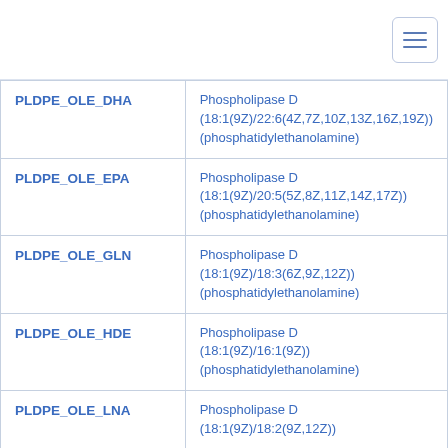| PLDPE_OLE_DHA | Phospholipase D (18:1(9Z)/22:6(4Z,7Z,10Z,13Z,16Z,19Z)) (phosphatidylethanolamine) |
| PLDPE_OLE_EPA | Phospholipase D (18:1(9Z)/20:5(5Z,8Z,11Z,14Z,17Z)) (phosphatidylethanolamine) |
| PLDPE_OLE_GLN | Phospholipase D (18:1(9Z)/18:3(6Z,9Z,12Z)) (phosphatidylethanolamine) |
| PLDPE_OLE_HDE | Phospholipase D (18:1(9Z)/16:1(9Z)) (phosphatidylethanolamine) |
| PLDPE_OLE_LNA | Phospholipase D (18:1(9Z)/18:2(9Z,12Z)) |